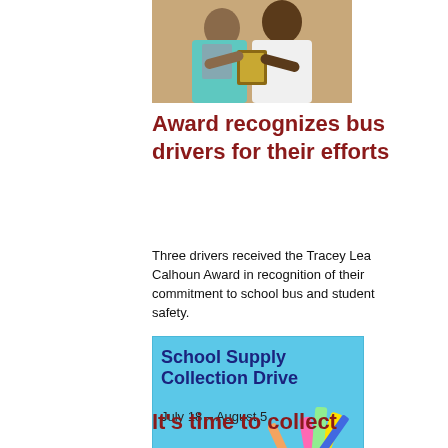[Figure (photo): Two people, one in a teal blazer and one in a white shirt, holding a plaque award together indoors.]
Award recognizes bus drivers for their efforts
Three drivers received the Tracey Lea Calhoun Award in recognition of their commitment to school bus and student safety.
[Figure (infographic): School Supply Collection Drive advertisement for Gaston County Schools, July 18 - August 5, with colorful pencils and highlighters graphic on a light blue background.]
It's time to collect